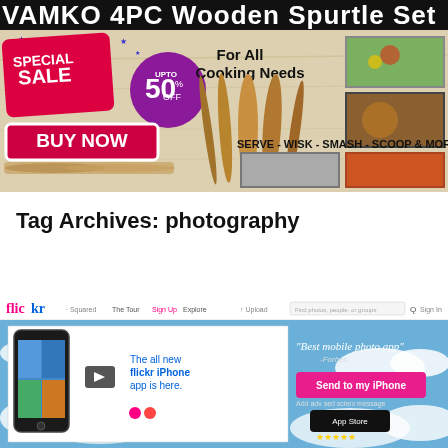[Figure (photo): VAMKO 4PC Wooden Spurtle Set advertisement banner with wooden kitchen utensils, special sale badge showing up to 50% off, buy now button, and product photos showing various uses (serve, wisk, smash, scoop & more)]
Tag Archives: photography
[Figure (screenshot): Screenshot of Flickr website homepage showing the new Flickr iPhone app with navigation bar, phone mockup, play button, text 'The all new flickr iPhone app is here.', 'Best mobile photo app' quote from Forbes, pink 'Send to my iPhone' button, and App Store badge]